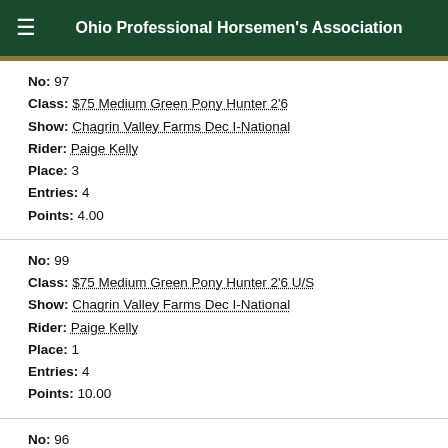Ohio Professional Horsemen's Association
No: 97
Class: $75 Medium Green Pony Hunter 2'6
Show: Chagrin Valley Farms Dec I-National
Rider: Paige Kelly
Place: 3
Entries: 4
Points: 4.00
No: 99
Class: $75 Medium Green Pony Hunter 2'6 U/S
Show: Chagrin Valley Farms Dec I-National
Rider: Paige Kelly
Place: 1
Entries: 4
Points: 10.00
No: 96
Class: $75 Medium Green Pony Hunter 2'6 (1st Round Clas
Show: Chagrin Valley Farms Dec I-National
Rider: Paige Kelly